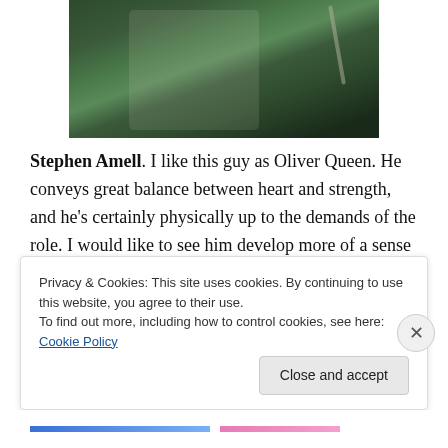[Figure (photo): Partial photo of a person (Oliver Queen/Green Arrow) in dark greenish clothing/armor, cropped at top of page]
Stephen Amell. I like this guy as Oliver Queen. He conveys great balance between heart and strength, and he's certainly physically up to the demands of the role. I would like to see him develop more of a sense of humor, but other than that, he's a great Green Arrow.
Deathstroke. Slade Wilson is a great villain in the comics, and the show did an excellent job of establishing him as
Privacy & Cookies: This site uses cookies. By continuing to use this website, you agree to their use.
To find out more, including how to control cookies, see here: Cookie Policy
Close and accept